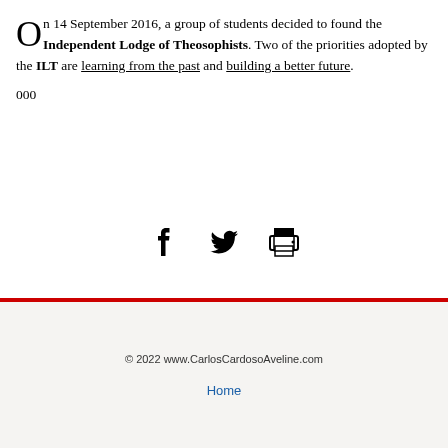On 14 September 2016, a group of students decided to found the Independent Lodge of Theosophists. Two of the priorities adopted by the ILT are learning from the past and building a better future.
000
[Figure (infographic): Social share icons: Facebook, Twitter, and a print icon]
© 2022 www.CarlosCardosoAveline.com
Home